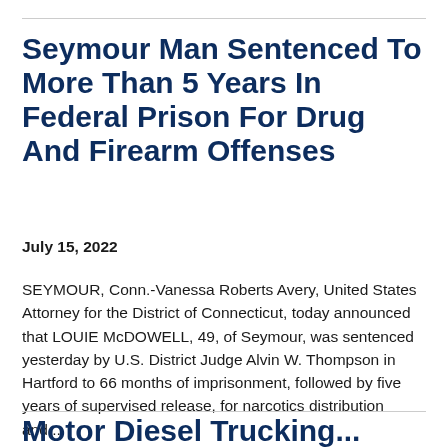Seymour Man Sentenced To More Than 5 Years In Federal Prison For Drug And Firearm Offenses
July 15, 2022
SEYMOUR, Conn.-Vanessa Roberts Avery, United States Attorney for the District of Connecticut, today announced that LOUIE McDOWELL, 49, of Seymour, was sentenced yesterday by U.S. District Judge Alvin W. Thompson in Hartford to 66 months of imprisonment, followed by five years of supervised release, for narcotics distribution and...
Motor Diesel Trucking...